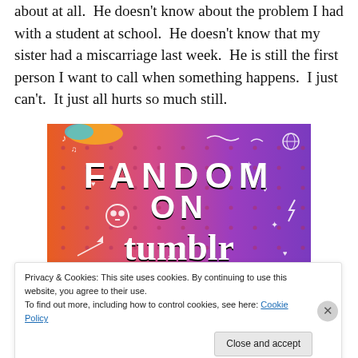about at all.  He doesn't know about the problem I had with a student at school.  He doesn't know that my sister had a miscarriage last week.  He is still the first person I want to call when something happens.  I just can't.  It just all hurts so much still.
[Figure (illustration): Fandom on Tumblr promotional banner with colorful orange-to-purple gradient background, white doodles, and bold black/white text reading 'FANDOM ON tumblr']
Privacy & Cookies: This site uses cookies. By continuing to use this website, you agree to their use.
To find out more, including how to control cookies, see here: Cookie Policy
Close and accept